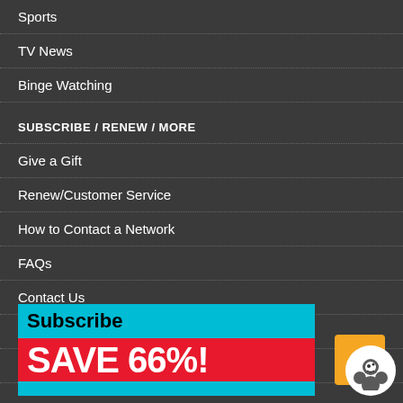Sports
TV News
Binge Watching
SUBSCRIBE / RENEW / MORE
Give a Gift
Renew/Customer Service
How to Contact a Network
FAQs
Contact Us
Magazine Archive
Privacy Policy
[Figure (infographic): Subscribe banner with cyan top section reading 'Subscribe' and red bottom section reading 'SAVE 66%!']
[Figure (logo): Cookie consent icon — orange square background with white circle containing a cookie/face icon]